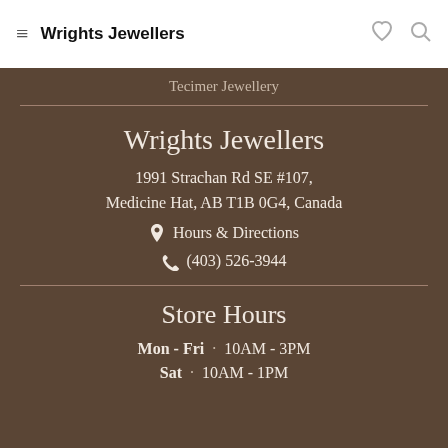Wrights Jewellers
Tecimer Jewellery
Wrights Jewellers
1991 Strachan Rd SE #107, Medicine Hat, AB T1B 0G4, Canada
Hours & Directions
(403) 526-3944
Store Hours
Mon - Fri · 10AM - 3PM
Sat · 10AM - 1PM